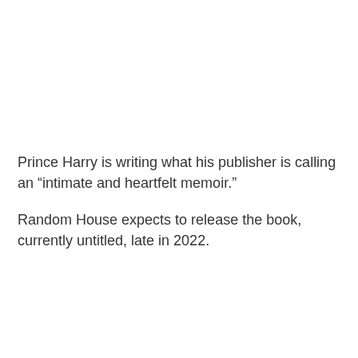Prince Harry is writing what his publisher is calling an “intimate and heartfelt memoir.”
Random House expects to release the book, currently untitled, late in 2022.